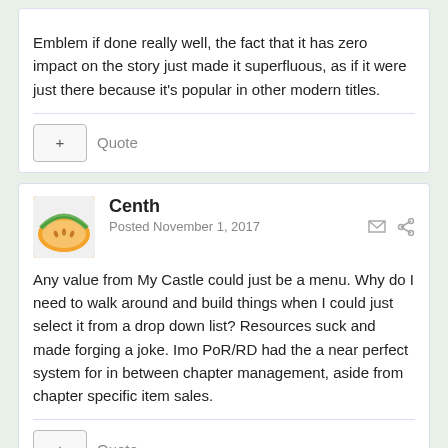Emblem if done really well, the fact that it has zero impact on the story just made it superfluous, as if it were just there because it's popular in other modern titles.
Centh
Posted November 1, 2017
Any value from My Castle could just be a menu. Why do I need to walk around and build things when I could just select it from a drop down list? Resources suck and made forging a joke. Imo PoR/RD had the a near perfect system for in between chapter management, aside from chapter specific item sales.
SniperGYS
Posted November 1, 2017